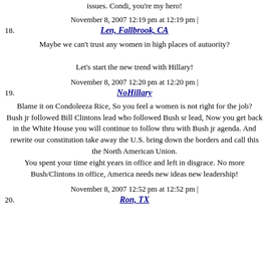issues. Condi, you're my hero!
November 8, 2007 12:19 pm at 12:19 pm |
18. Len, Fallbrook, CA
Maybe we can't trust any women in high places of autuority?

Let's start the new trend with Hillary!
November 8, 2007 12:20 pm at 12:20 pm |
19. NoHillary
Blame it on Condoleeza Rice, So you feel a women is not right for the job?
Bush jr followed Bill Clintons lead who followed Bush sr lead, Now you get back in the White House you will continue to follow thru with Bush jr agenda. And rewrite our constitution take away the U.S. bring down the borders and call this the North American Union.
You spent your time eight years in office and left in disgrace. No more Bush/Clintons in office, America needs new ideas new leadership!
November 8, 2007 12:52 pm at 12:52 pm |
20. Ron, TX